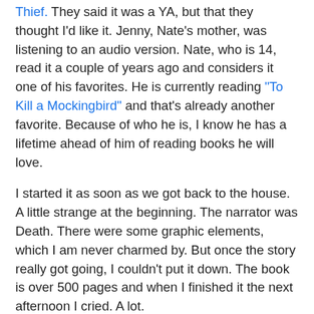Thief. They said it was a YA, but that they thought I'd like it. Jenny, Nate's mother, was listening to an audio version. Nate, who is 14, read it a couple of years ago and considers it one of his favorites. He is currently reading "To Kill a Mockingbird" and that's already another favorite. Because of who he is, I know he has a lifetime ahead of him of reading books he will love.
I started it as soon as we got back to the house. A little strange at the beginning. The narrator was Death. There were some graphic elements, which I am never charmed by. But once the story really got going, I couldn't put it down. The book is over 500 pages and when I finished it the next afternoon I cried. A lot.
The author, Markus Zusak, includes a lot of visual imagery in his unusual use of language. And I liked that the book's familiar subject, the Holocaust, was viewed from a much less familiar perspective: the main character is a young German girl living with her German foster parents among their neighbors in a small town not far from the concentration camp at Dachau. The girl is the "book thief" who has a